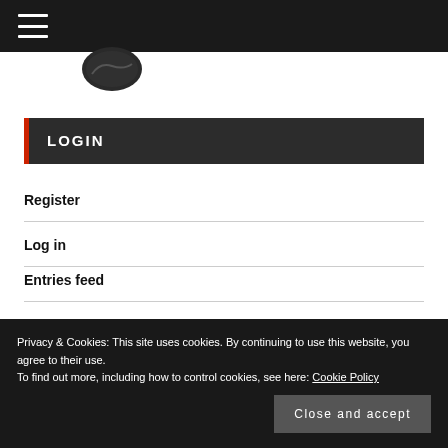☰ (hamburger menu icon)
[Figure (logo): Circular dark logo partially visible at top of page]
LOGIN
Register
Log in
Entries feed
Privacy & Cookies: This site uses cookies. By continuing to use this website, you agree to their use.
To find out more, including how to control cookies, see here: Cookie Policy
Close and accept